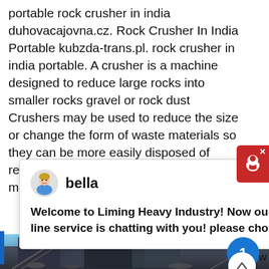portable rock crusher in india duhovacajovna.cz. Rock Crusher In India Portable kubzda-trans.pl. rock crusher in india portable. A crusher is a machine designed to reduce large rocks into smaller rocks gravel or rock dust Crushers may be used to reduce the size or change the form of waste materials so they can be more easily disposed of recycled or to reduce the size of a solid mix of raw
[Figure (screenshot): Chat widget overlay from Liming Heavy Industry with avatar named 'bella' and message 'Welcome to Liming Heavy Industry! Now our on-line service is chatting with you! please choose:']
[Figure (photo): Photo of a portable rock crusher machine at a construction/mining site]